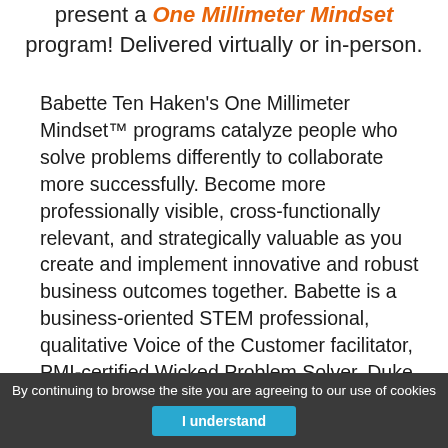present a One Millimeter Mindset program! Delivered virtually or in-person.
Babette Ten Haken's One Millimeter Mindset™ programs catalyze people who solve problems differently to collaborate more successfully. Become more professionally visible, cross-functionally relevant, and strategically valuable as you create and implement innovative and robust business outcomes together. Babette is a business-oriented STEM professional, qualitative Voice of the Customer facilitator, PMI-certified Wicked Problem Solver, Duke Corporate Education licensed Strategic Agility practitioner, and Six Sigma Green Belt (Quality). She is a member of SHRM, PMI, the National
By continuing to browse the site you are agreeing to our use of cookies  I understand